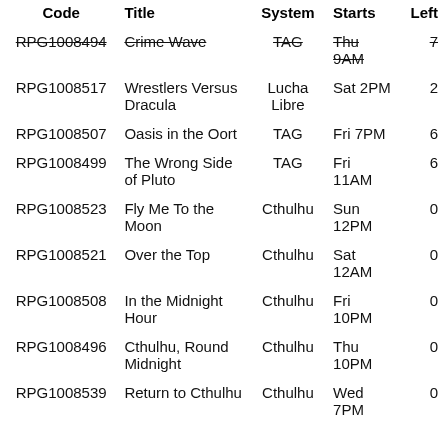| Code | Title | System | Starts | Left |
| --- | --- | --- | --- | --- |
| RPG1008494 | Crime Wave | TAG | Thu 9AM | 7 |
| RPG1008517 | Wrestlers Versus Dracula | Lucha Libre | Sat 2PM | 2 |
| RPG1008507 | Oasis in the Oort | TAG | Fri 7PM | 6 |
| RPG1008499 | The Wrong Side of Pluto | TAG | Fri 11AM | 6 |
| RPG1008523 | Fly Me To the Moon | Cthulhu | Sun 12PM | 0 |
| RPG1008521 | Over the Top | Cthulhu | Sat 12AM | 0 |
| RPG1008508 | In the Midnight Hour | Cthulhu | Fri 10PM | 0 |
| RPG1008496 | Cthulhu, Round Midnight | Cthulhu | Thu 10PM | 0 |
| RPG1008539 | Return to Cthulhu | Cthulhu | Wed 7PM | 0 |